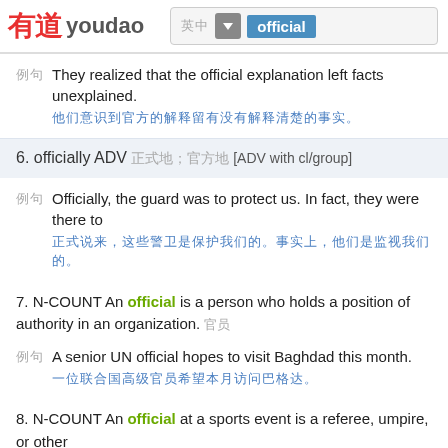有道 youdao — official
例句  They realized that the official explanation left facts unexplained. 他们意识到官方的解释留有没有解释清楚的事实。
6. officially ADV 正式地；官方地 [ADV with cl/group]
例句  Officially, the guard was to protect us. In fact, they were there to 正式说来，这些警卫是保护我们的。事实上，他们是监视我们的。
7. N-COUNT An official is a person who holds a position of authority in an organization. 官员
例句  A senior UN official hopes to visit Baghdad this month. 一位联合国高级官员希望本月访问巴格达。
8. N-COUNT An official at a sports event is a referee, umpire, or other